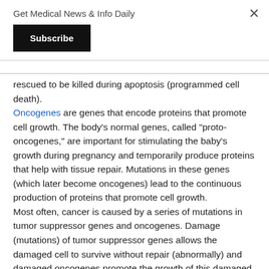Get Medical News & Info Daily
rescued to be killed during apoptosis (programmed cell death).
Oncogenes are genes that encode proteins that promote cell growth. The body's normal genes, called "proto-oncogenes," are important for stimulating the baby's growth during pregnancy and temporarily produce proteins that help with tissue repair. Mutations in these genes (which later become oncogenes) lead to the continuous production of proteins that promote cell growth.
Most often, cancer is caused by a series of mutations in tumor suppressor genes and oncogenes. Damage (mutations) of tumor suppressor genes allows the damaged cell to survive without repair (abnormally) and damaged oncogenes promote the growth of this damaged cell. The result is the formation of a cancer cell.